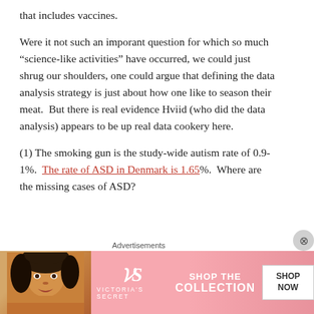that includes vaccines.
Were it not such an imporant question for which so much “science-like activities” have occurred, we could just shrug our shoulders, one could argue that defining the data analysis strategy is just about how one like to season their meat.  But there is real evidence Hviid (who did the data analysis) appears to be up real data cookery here.
(1) The smoking gun is the study-wide autism rate of 0.9-1%.  The rate of ASD in Denmark is 1.65%.  Where are the missing cases of ASD?
[Figure (other): Victoria's Secret advertisement banner with model photo, VS logo, 'SHOP THE COLLECTION' text, and 'SHOP NOW' button on pink background]